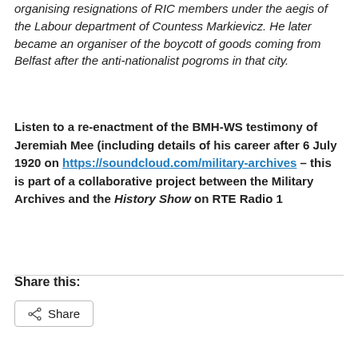organising resignations of RIC members under the aegis of the Labour department of Countess Markievicz. He later became an organiser of the boycott of goods coming from Belfast after the anti-nationalist pogroms in that city.
Listen to a re-enactment of the BMH-WS testimony of Jeremiah Mee (including details of his career after 6 July 1920 on https://soundcloud.com/military-archives – this is part of a collaborative project between the Military Archives and the History Show on RTE Radio 1
Share this:
[Figure (other): Share button with share icon]
Loading...